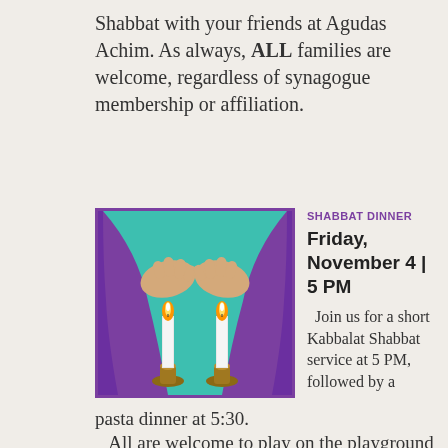Shabbat with your friends at Agudas Achim. As always, ALL families are welcome, regardless of synagogue membership or affiliation.
[Figure (illustration): Illustration of two Shabbat candles with flames in golden candlesticks, with purple-robed arms outstretched over them against a teal background, framed in a purple border.]
SHABBAT DINNER
Friday, November 4 | 5 PM
Join us for a short Kabbalat Shabbat service at 5 PM, followed by a pasta dinner at 5:30.
All are welcome to play on the playground or join the main service (indoors) following the M... F... ll...